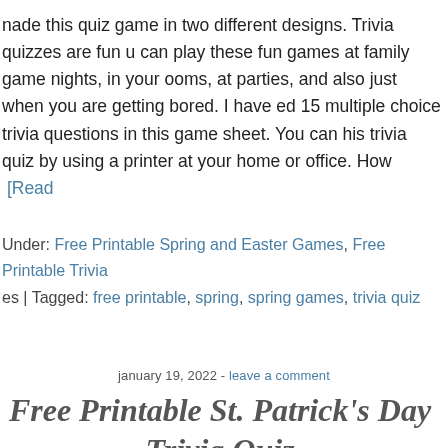nade this quiz game in two different designs. Trivia quizzes are fun u can play these fun games at family game nights, in your ooms, at parties, and also just when you are getting bored. I have ed 15 multiple choice trivia questions in this game sheet. You can his trivia quiz by using a printer at your home or office. How  [Read
Under: Free Printable Spring and Easter Games, Free Printable Trivia es | Tagged: free printable, spring, spring games, trivia quiz
january 19, 2022 - leave a comment
Free Printable St. Patrick's Day Trivia Quiz